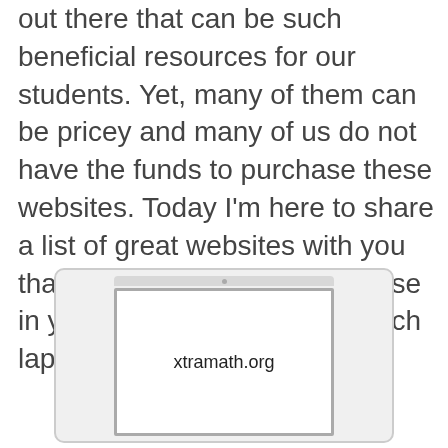out there that can be such beneficial resources for our students. Yet, many of them can be pricey and many of us do not have the funds to purchase these websites. Today I'm here to share a list of great websites with you that are completely FREE to use in your classroom! Click on each laptop below to visit each one.
[Figure (illustration): A laptop computer illustration with the screen showing the text 'xtramath.org']